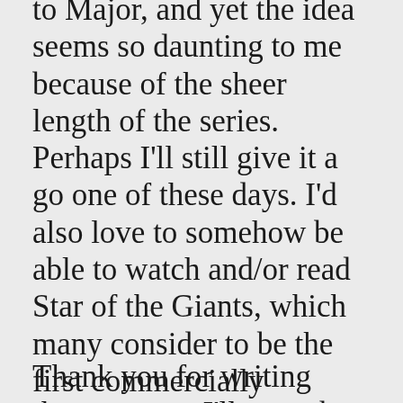to Major, and yet the idea seems so daunting to me because of the sheer length of the series. Perhaps I'll still give it a go one of these days. I'd also love to somehow be able to watch and/or read Star of the Giants, which many consider to be the first commercially successful baseball manga (and subsequent anime).
Thank you for writing those essays. I'll try to be a better reader and instead of lurking write a comment or two if